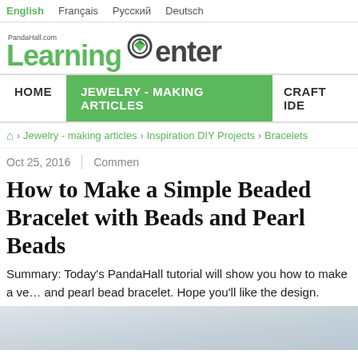English | Français | Русский | Deutsch
[Figure (logo): PandaHall.com Learning Center logo with green diamond icon]
HOME | JEWELRY - MAKING ARTICLES | CRAFT IDE
Home > Jewelry - making articles > Inspiration DIY Projects > Bracelets
Oct 25, 2016 | Commen
How to Make a Simple Beaded Bracelet with Beads and Pearl Beads
Summary: Today's PandaHall tutorial will show you how to make a very nice and pearl bead bracelet. Hope you'll like the design.